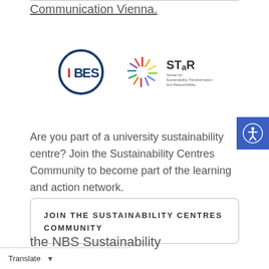Communication Vienna.
[Figure (logo): IBES logo (circle with IBES text in red) and STaR Center for Sustainability Transformation and Responsibility logo (colorful starburst with STaR text)]
Are you part of a university sustainability centre? Join the Sustainability Centres Community to become part of the learning and action network.
JOIN THE SUSTAINABILITY CENTRES COMMUNITY
the NBS Sustainability hop 2021
Translate